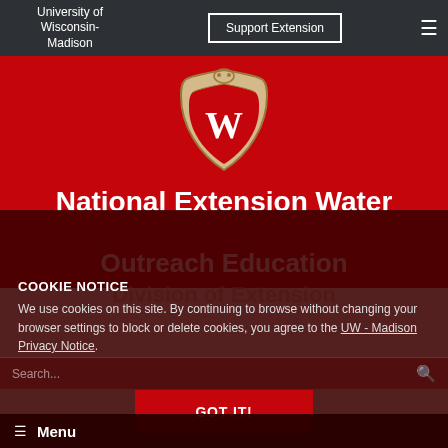University of Wisconsin-Madison
Support Extension
[Figure (logo): University of Wisconsin-Madison crest/shield logo — cream/tan shield with W letter on red background, ornate border]
National Extension Water Outreach Education
Division of Extension
COOKIE NOTICE
We use cookies on this site. By continuing to browse without changing your browser settings to block or delete cookies, you agree to the UW - Madison Privacy Notice.
Search...
GOT IT!
Menu